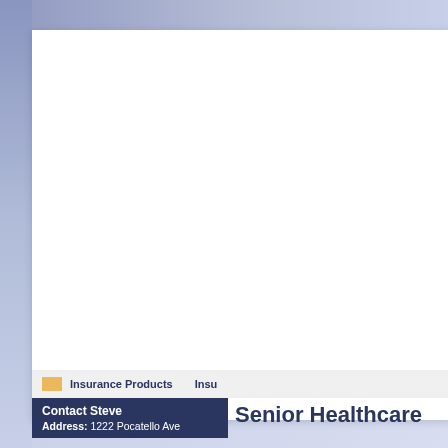Insurance Products    Insu
Contact Steve
Address: 1222 Pocatello Ave
Senior Healthcare